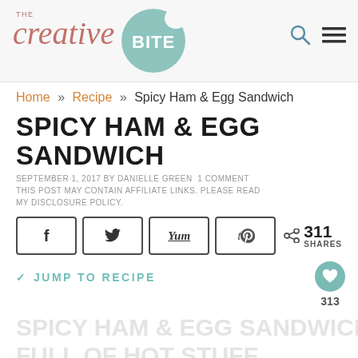The Creative Bite
Home » Recipe » Spicy Ham & Egg Sandwich
SPICY HAM & EGG SANDWICH
SEPTEMBER 1, 2017 BY DANIELLE GREEN 1 COMMENT
THIS POST MAY CONTAIN AFFILIATE LINKS. PLEASE READ MY DISCLOSURE POLICY.
Share buttons: f, Twitter, Yum, Pinterest — 311 SHARES
JUMP TO RECIPE — 313
SPICY HAM & EGG SANDWICH IS...